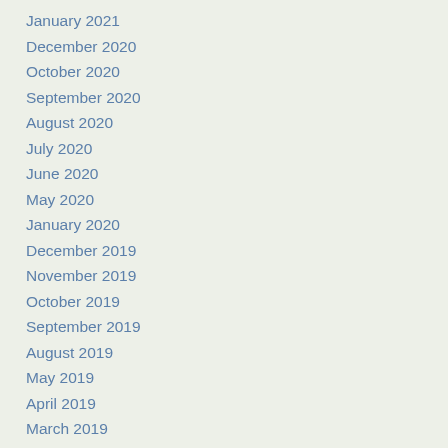January 2021
December 2020
October 2020
September 2020
August 2020
July 2020
June 2020
May 2020
January 2020
December 2019
November 2019
October 2019
September 2019
August 2019
May 2019
April 2019
March 2019
February 2019
January 2019
December 2018
November 2018